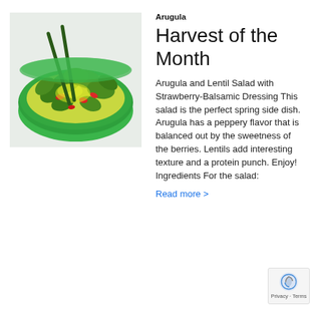[Figure (photo): A green bowl filled with arugula and lentil salad with red strawberries and green leaves, with utensils, on a white background]
Arugula
Harvest of the Month
Arugula and Lentil Salad with Strawberry-Balsamic Dressing This salad is the perfect spring side dish. Arugula has a peppery flavor that is balanced out by the sweetness of the berries. Lentils add interesting texture and a protein punch. Enjoy! Ingredients For the salad:
Read more >